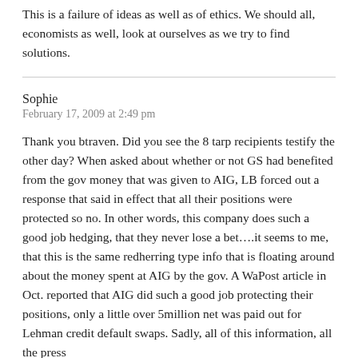This is a failure of ideas as well as of ethics. We should all, economists as well, look at ourselves as we try to find solutions.
Sophie
February 17, 2009 at 2:49 pm
Thank you btraven. Did you see the 8 tarp recipients testify the other day? When asked about whether or not GS had benefited from the gov money that was given to AIG, LB forced out a response that said in effect that all their positions were protected so no. In other words, this company does such a good job hedging, that they never lose a bet….it seems to me, that this is the same redherring type info that is floating around about the money spent at AIG by the gov. A WaPost article in Oct. reported that AIG did such a good job protecting their positions, only a little over 5million net was paid out for Lehman credit default swaps. Sadly, all of this information, all the press